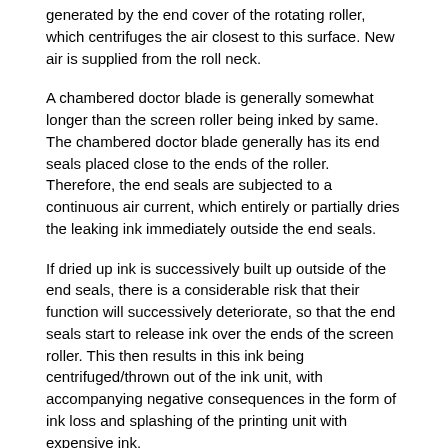generated by the end cover of the rotating roller, which centrifuges the air closest to this surface. New air is supplied from the roll neck.
A chambered doctor blade is generally somewhat longer than the screen roller being inked by same. The chambered doctor blade generally has its end seals placed close to the ends of the roller. Therefore, the end seals are subjected to a continuous air current, which entirely or partially dries the leaking ink immediately outside the end seals.
If dried up ink is successively built up outside of the end seals, there is a considerable risk that their function will successively deteriorate, so that the end seals start to release ink over the ends of the screen roller. This then results in this ink being centrifuged/thrown out of the ink unit, with accompanying negative consequences in the form of ink loss and splashing of the printing unit with expensive ink.
Each time the printing ink in a printing unit is to be changed to a new ink, in order to carry out a new printing task, all of the surfaces inked from the first ink must be cleaned. A change of ink made from a darker to a lighter ink is expressed as a "critical" change of ink. By this it is meant that even a small amount of ink of the first ink easily contaminates the other ink, such that it is no longer possible to print the shade of color which is intended to be printed. In this manner, the quality of the finished print is affected in a negative way or in a totally devastating way. If the ink is too contaminated by the first ink, and this is not established until the new printing task is